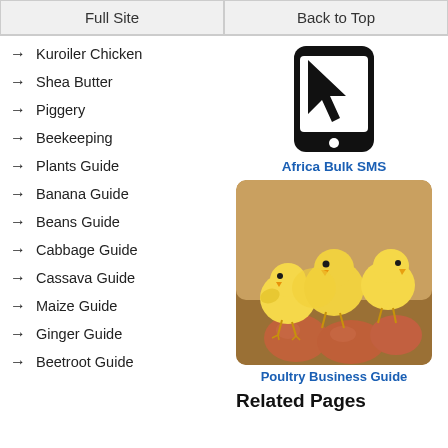Full Site | Back to Top
Kuroiler Chicken
Shea Butter
Piggery
Beekeeping
Plants Guide
Banana Guide
Beans Guide
Cabbage Guide
Cassava Guide
Maize Guide
Ginger Guide
Beetroot Guide
[Figure (logo): Phone/mobile device icon representing Africa Bulk SMS]
Africa Bulk SMS
[Figure (photo): Several yellow baby chicks sitting on brown/terracotta eggs on a wooden surface]
Poultry Business Guide
Related Pages